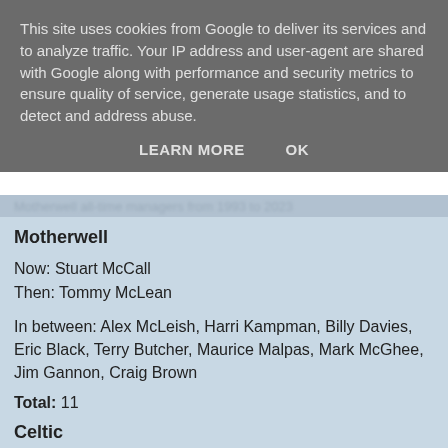This site uses cookies from Google to deliver its services and to analyze traffic. Your IP address and user-agent are shared with Google along with performance and security metrics to ensure quality of service, generate usage statistics, and to detect and address abuse.
LEARN MORE    OK
Motherwell
Now: Stuart McCall
Then: Tommy McLean
In between: Alex McLeish, Harri Kampman, Billy Davies, Eric Black, Terry Butcher, Maurice Malpas, Mark McGhee, Jim Gannon, Craig Brown
Total: 11
Celtic